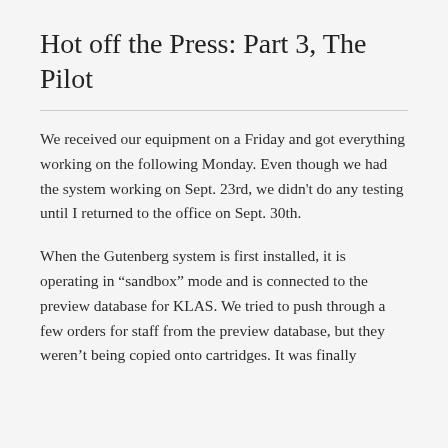Hot off the Press: Part 3, The Pilot
We received our equipment on a Friday and got everything working on the following Monday. Even though we had the system working on Sept. 23rd, we didn't do any testing until I returned to the office on Sept. 30th.
When the Gutenberg system is first installed, it is operating in “sandbox” mode and is connected to the preview database for KLAS. We tried to push through a few orders for staff from the preview database, but they weren’t being copied onto cartridges. It was finally